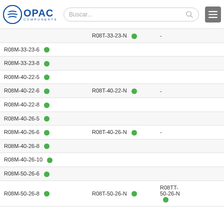[Figure (logo): OPAC Components logo with blue circle icon and text]
[Figure (screenshot): Search bar with 'Buscar...' placeholder and menu button]
| Model (M) | Stock | Model (T) | Stock | Model (TT) | Stock |
| --- | --- | --- | --- | --- | --- |
| R08T-33-23-N | ● | - |  |  |  |
| R08M-33-23-6 | ● |  |  |  |  |
| R08M-33-23-8 | ● |  |  |  |  |
| R08M-40-22-5 | ● |  |  |  |  |
| R08M-40-22-6 | ● | R08T-40-22-N | ● | - |  |
| R08M-40-22-8 | ● |  |  |  |  |
| R08M-40-26-5 | ● |  |  |  |  |
| R08M-40-26-6 | ● | R08T-40-26-N | ● | - |  |
| R08M-40-26-8 | ● |  |  |  |  |
| R08M-40-26-10 | ● |  |  |  |  |
| R08M-50-26-6 | ● |  |  |  |  |
| R08M-50-26-8 | ● | R08T-50-26-N | ● | R08TT-50-26-N | ● |